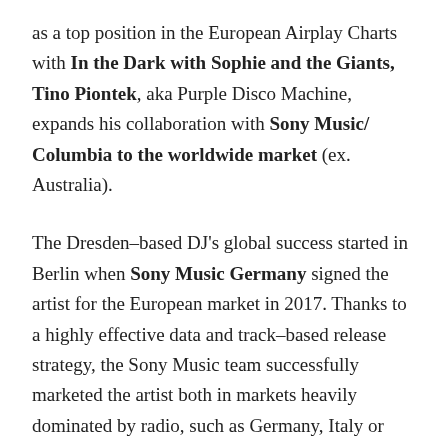as a top position in the European Airplay Charts with In the Dark with Sophie and the Giants, Tino Piontek, aka Purple Disco Machine, expands his collaboration with Sony Music/ Columbia to the worldwide market (ex. Australia).
The Dresden–based DJ's global success started in Berlin when Sony Music Germany signed the artist for the European market in 2017. Thanks to a highly effective data and track–based release strategy, the Sony Music team successfully marketed the artist both in markets heavily dominated by radio, such as Germany, Italy or France, and in markets dominated by streaming.